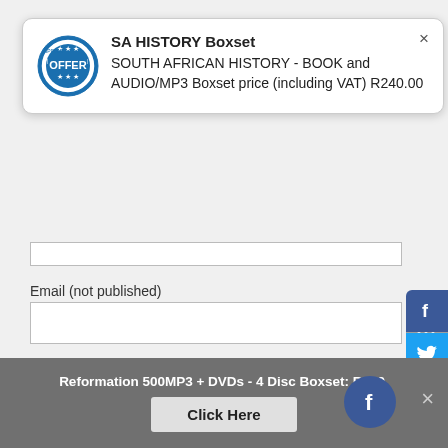[Figure (screenshot): Popup/tooltip showing SA HISTORY Boxset offer with blue stamp icon]
Email (not published)
Website
Comments (required)
[Figure (infographic): Social media sharing sidebar with Facebook, Twitter, WhatsApp, Messenger, Google+, Pinterest, and more buttons]
Reformation 500MP3 + DVDs - 4 Disc Boxset: R220.
Click Here